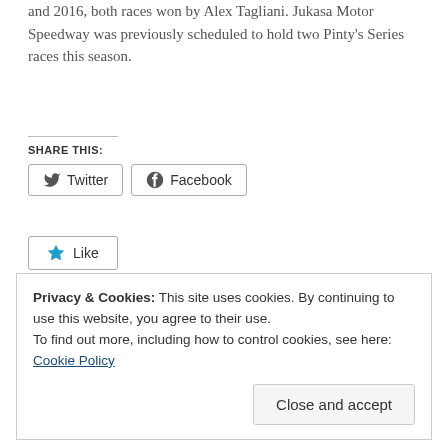and 2016, both races won by Alex Tagliani. Jukasa Motor Speedway was previously scheduled to hold two Pinty's Series races this season.
SHARE THIS:
[Figure (screenshot): Twitter and Facebook share buttons]
[Figure (screenshot): Like button with star icon]
Be the first to like this.
Privacy & Cookies: This site uses cookies. By continuing to use this website, you agree to their use.
To find out more, including how to control cookies, see here: Cookie Policy
Close and accept